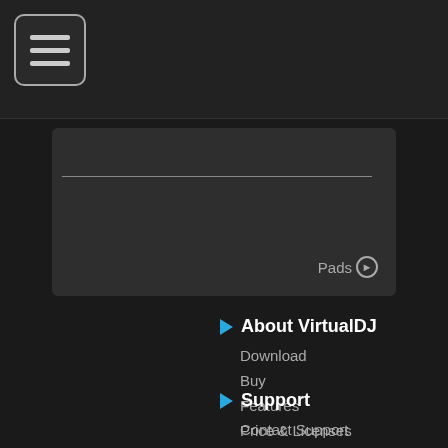[Figure (screenshot): Hamburger menu button icon in top-left corner with three horizontal lines inside a rounded rectangle]
[Figure (screenshot): Content card with horizontal divider line and 'Pads >' navigation link in bottom right]
About VirtualDJ
Download
Buy
Features
Price & Licenses
Screenshots
Support
Contact Support